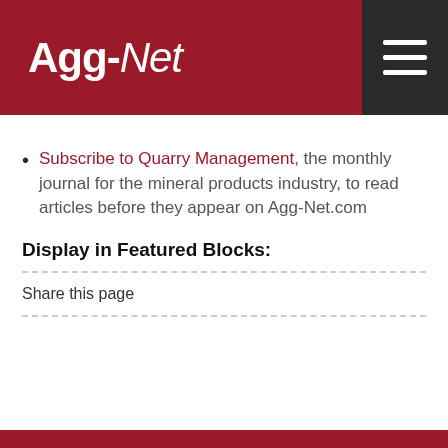Agg-Net
Subscribe to Quarry Management, the monthly journal for the mineral products industry, to read articles before they appear on Agg-Net.com
Display in Featured Blocks:
Share this page